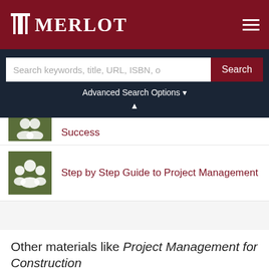MERLOT
Search keywords, title, URL, ISBN, o
Advanced Search Options
Success
Step by Step Guide to Project Management
Other materials like Project Management for Construction
Project management for entrepreneurs